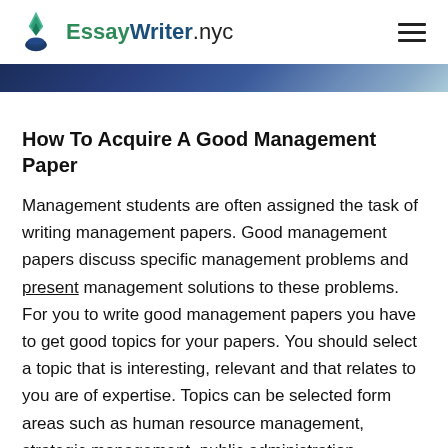EssayWriter.nyc
How To Acquire A Good Management Paper
Management students are often assigned the task of writing management papers. Good management papers discuss specific management problems and present management solutions to these problems. For you to write good management papers you have to get good topics for your papers. You should select a topic that is interesting, relevant and that relates to you are of expertise. Topics can be selected form areas such as human resource management, strategic management, public administration, international business among other